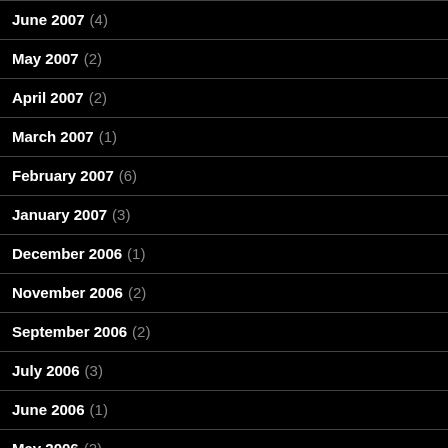June 2007 (4)
May 2007 (2)
April 2007 (2)
March 2007 (1)
February 2007 (6)
January 2007 (3)
December 2006 (1)
November 2006 (2)
September 2006 (2)
July 2006 (3)
June 2006 (1)
May 2006 (2)
April 2006 (3)